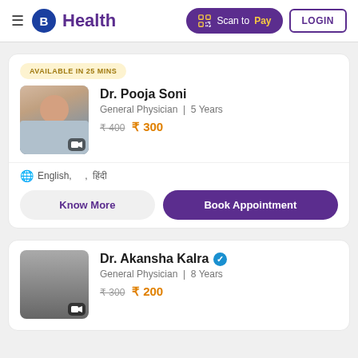B Health | Scan to Pay | LOGIN
AVAILABLE IN 25 MINS
Dr. Pooja Soni
General Physician | 5 Years
₹400 ₹300
English, , हिंदी
Know More | Book Appointment
Dr. Akansha Kalra
General Physician | 8 Years
₹300 ₹200